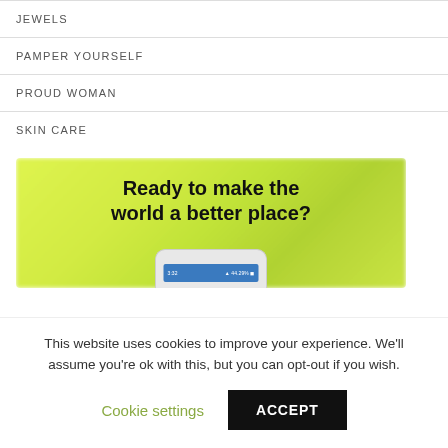JEWELS
PAMPER YOURSELF
PROUD WOMAN
SKIN CARE
[Figure (illustration): Promotional banner with yellow-green blurred background showing text 'Ready to make the world a better place?' with a smartphone visible at the bottom.]
This website uses cookies to improve your experience. We'll assume you're ok with this, but you can opt-out if you wish.
Cookie settings  ACCEPT